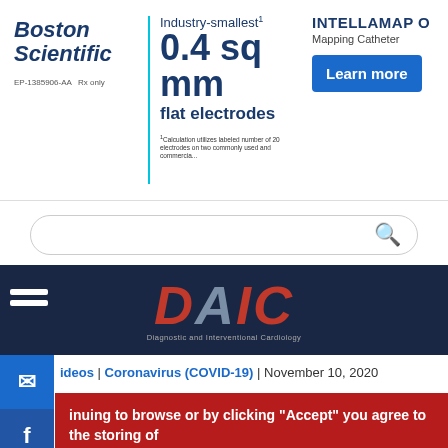[Figure (screenshot): Boston Scientific advertisement banner showing Industry-smallest 0.4 sq mm flat electrodes and INTELLAMAP Mapping Catheter with Learn more button]
[Figure (screenshot): Search bar with red search icon]
[Figure (logo): DAIC (Diagnostic and Interventional Cardiology) logo on dark navy background]
ideos | Coronavirus (COVID-19) | November 10, 2020
inuing to browse or by clicking “Accept” you agree to the storing of s on your device to enhance your site experience and for analytical arketing purposes.
n more about how we use cookies, please see our cookie policy.
agree   No, thanks